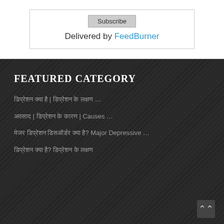Delivered by FeedBurner
FEATURED CATEGORY
डिप्रेशन क्या है | डिप्रेशन के लक्षण …
अवसाद | डिप्रेशन के कारण | Causes …
मेजर डिप्रेशन डिसऑर्डर क्या है? Major Depressive …
डिप्रेशन क्या है? डिप्रेशन के लक्षण